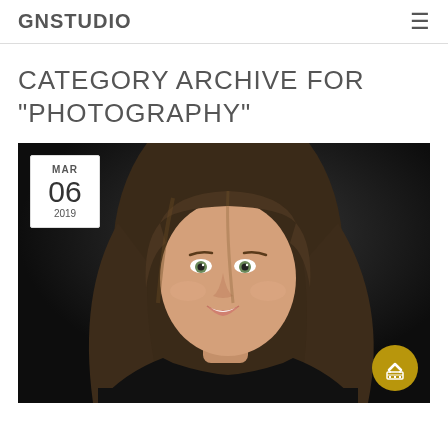GNSTUDIO
CATEGORY ARCHIVE FOR "PHOTOGRAPHY"
[Figure (photo): Professional portrait photo of a smiling woman with long brown hair against a dark background, with a date badge showing MAR 06 2019 in the top-left corner and a golden scroll-to-top button in the bottom-right corner.]